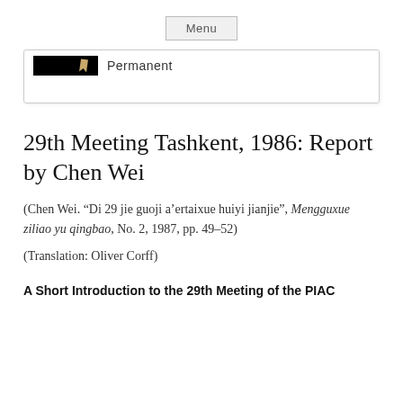Menu
[Figure (other): Permanent link icon with black bar and gold/tan bookmark arrow]
29th Meeting Tashkent, 1986: Report by Chen Wei
(Chen Wei. “Di 29 jie guoji a’ertaixue huiyi jianjie”, Mengguxue ziliao yu qingbao, No. 2, 1987, pp. 49–52)
(Translation: Oliver Corff)
A Short Introduction to the 29th Meeting of the PIAC